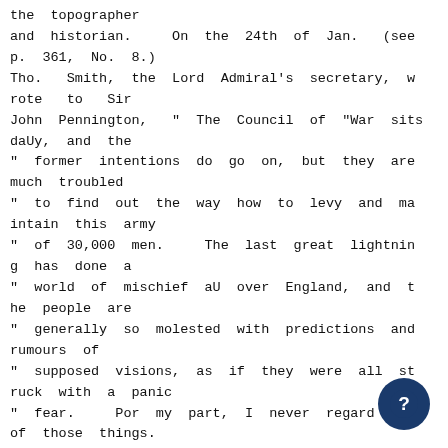the topographer
and historian.    On the 24th of Jan.  (see
p. 361, No. 8.)
Tho.  Smith, the Lord Admiral's secretary, w
rote  to  Sir
John Pennington,  " The Council of  "War sits
daUy, and the
" former intentions do go on, but they are
much troubled
" to find out the way how to levy and ma
intain this army
" of 30,000 men.    The last great lightnin
g has done a
" world of mischief aU over England, and t
he people are
" generally so molested with predictions and
rumours of
" supposed visions, as if they were all st
ruck with a panic
" fear.    Por my part, I never regard any
of those things.
" The truth is we do already see the b
nnings of much
" evU, and have cause to fear much more,
[Figure (other): Dark blue circular help button with a white question mark icon, positioned in the bottom-right corner of the page.]